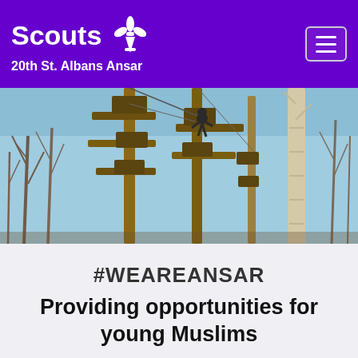Scouts 20th St. Albans Ansar
[Figure (photo): Outdoor high-ropes adventure course with wooden poles and platforms against a blue sky with bare winter trees; a person is climbing near the top of one of the poles.]
#WEAREANSAR
Providing opportunities for young Muslims